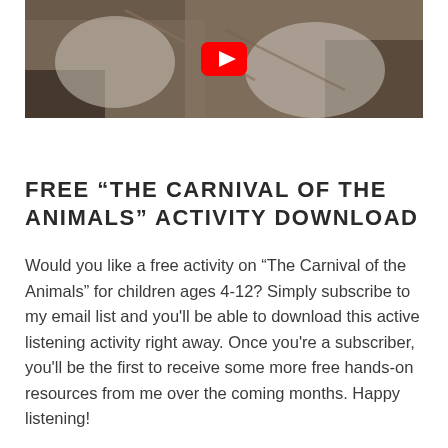[Figure (screenshot): YouTube video thumbnail showing musicians playing violins, with a red YouTube play button overlay in the center top area.]
FREE “THE CARNIVAL OF THE ANIMALS” ACTIVITY DOWNLOAD
Would you like a free activity on “The Carnival of the Animals” for children ages 4-12? Simply subscribe to my email list and you’ll be able to download this active listening activity right away. Once you’re a subscriber, you’ll be the first to receive some more free hands-on resources from me over the coming months. Happy listening!